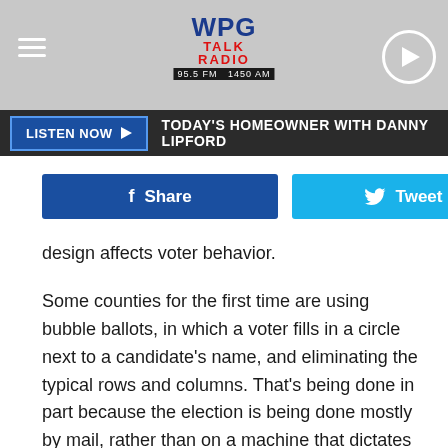[Figure (screenshot): WPG Talk Radio header logo with hamburger menu icon on left and play button circle on right, gray background]
LISTEN NOW ▶  TODAY'S HOMEOWNER WITH DANNY LIPFORD
[Figure (screenshot): Facebook Share button (blue) and Twitter Tweet button (light blue)]
design affects voter behavior.
Some counties for the first time are using bubble ballots, in which a voter fills in a circle next to a candidate's name, and eliminating the typical rows and columns. That's being done in part because the election is being done mostly by mail, rather than on a machine that dictates some of the ballot design.
There's also a potentially interesting test case in the 2nd Congressional District, which includes eight counties, all